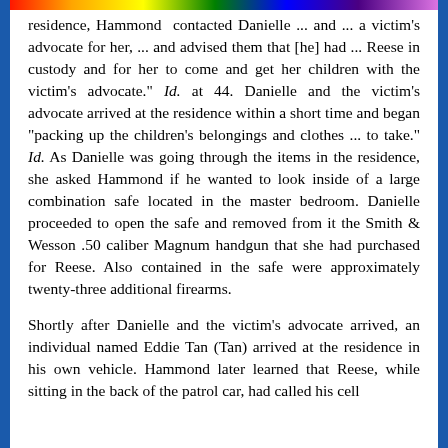residence, Hammond contacted Danielle ... and ... a victim's advocate for her, ... and advised them that [he] had ... Reese in custody and for her to come and get her children with the victim's advocate." Id. at 44. Danielle and the victim's advocate arrived at the residence within a short time and began "packing up the children's belongings and clothes ... to take." Id. As Danielle was going through the items in the residence, she asked Hammond if he wanted to look inside of a large combination safe located in the master bedroom. Danielle proceeded to open the safe and removed from it the Smith & Wesson .50 caliber Magnum handgun that she had purchased for Reese. Also contained in the safe were approximately twenty-three additional firearms.
Shortly after Danielle and the victim's advocate arrived, an individual named Eddie Tan (Tan) arrived at the residence in his own vehicle. Hammond later learned that Reese, while sitting in the back of the patrol car, had called his cell phone ...